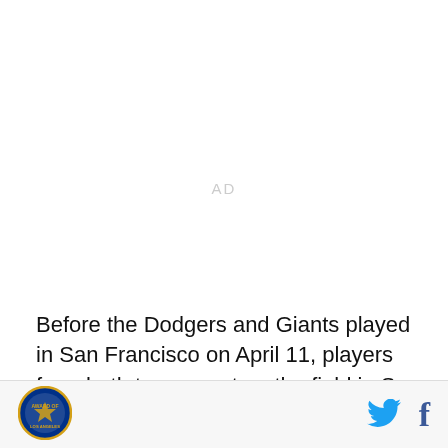AD
Before the Dodgers and Giants played in San Francisco on April 11, players from both teams met on the field in San Francisco, while Jamey Carroll and Jeremy Affeldt addressed the crowd. "There's no room
[Figure (logo): Los Angeles circular team logo with gold and blue design]
[Figure (logo): Twitter bird icon in blue]
[Figure (logo): Facebook f icon in dark blue]